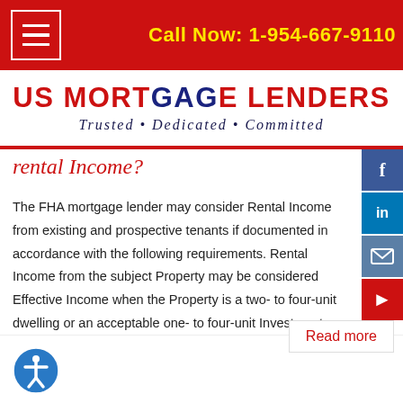Call Now: 1-954-667-9110
[Figure (logo): US Mortgage Lenders logo with tagline: Trusted • Dedicated • Committed]
[Figure (infographic): Social media sidebar with Facebook, LinkedIn, email, and arrow buttons]
rental Income?
The FHA mortgage lender may consider Rental Income from existing and prospective tenants if documented in accordance with the following requirements. Rental Income from the subject Property may be considered Effective Income when the Property is a two- to four-unit dwelling or an acceptable one- to four-unit Investment Property. Rent received for properties owned by…
Read more